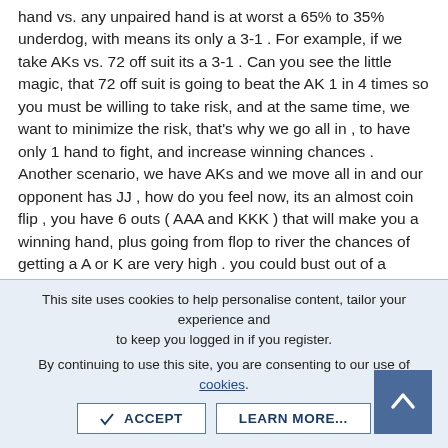hand vs. any unpaired hand is at worst a 65% to 35% underdog, with means its only a 3-1 . For example, if we take AKs vs. 72 off suit its a 3-1 . Can you see the little magic, that 72 off suit is going to beat the AK 1 in 4 times so you must be willing to take risk, and at the same time, we want to minimize the risk, that's why we go all in , to have only 1 hand to fight, and increase winning chances . Another scenario, we have AKs and we move all in and our opponent has JJ , how do you feel now, its an almost coin flip , you have 6 outs ( AAA and KKK ) that will make you a winning hand, plus going from flop to river the chances of getting a A or K are very high . you could bust out of a tournament, but you could double up and be on your way to a cash out. It is this attitude of play to win and nothing else that will get you the money .
Another concept in the guide is Limp in. To limp in is to enter
This site uses cookies to help personalise content, tailor your experience and to keep you logged in if you register.
By continuing to use this site, you are consenting to our use of cookies.